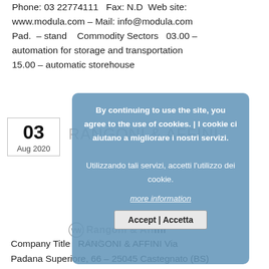Phone: 03 22774111   Fax: N.D  Web site: www.modula.com – Mail: info@modula.com Pad.  – stand   Commodity Sectors  03.00 – automation for storage and transportation 15.00 – automatic storehouse
03
Aug 2020
RANGONI & AFFINI
[Figure (screenshot): Cookie consent modal overlay with Italian/English bilingual text: 'By continuing to use the site, you agree to the use of cookies. | I cookie ci aiutano a migliorare i nostri servizi. Utilizzando tali servizi, accetti l'utilizzo dei cookie.' with 'more information' link and 'Accept | Accetta' button]
Company Title  RANGONI & AFFINI Via Padana Superiore, 66 – 25045 Castegnato (BS)